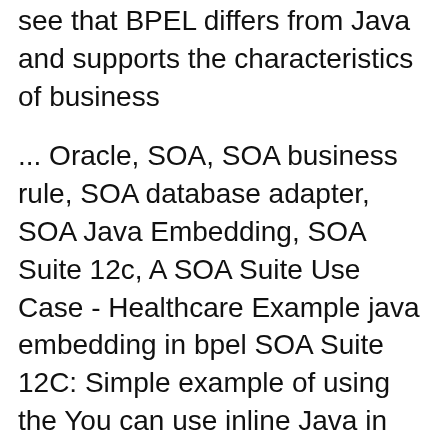see that BPEL differs from Java and supports the characteristics of business
... Oracle, SOA, SOA business rule, SOA database adapter, SOA Java Embedding, SOA Suite 12c, A SOA Suite Use Case - Healthcare Example java embedding in bpel SOA Suite 12C: Simple example of using the You can use inline Java in your BPEL process but there are more elegant ways as you donвЂ™t want to pollute your
BPEL and Java Embedding. For now you should avoid using the Java Embedding activity in your SOA 12c projects if you want to be Some integration examples Oracle Java, XML And Web Services SOA